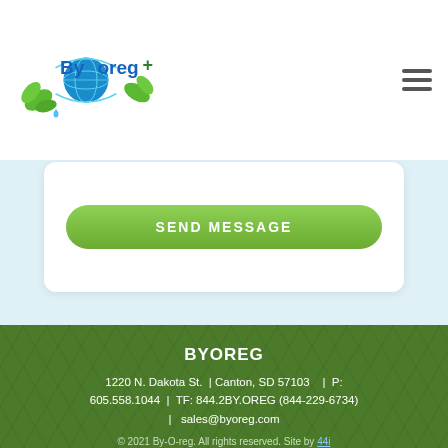[Figure (logo): By-O-reg+ logo with globe and leaves]
[Figure (illustration): Hamburger menu icon (three horizontal lines)]
SEND MESSAGE
BYOREG
1220 N. Dakota St.  | Canton, SD 57103    |  P: 605.558.1044  |  TF: 844.2BY.OREG (844-229-6734)  |   sales@byoreg.com
© 2021 By-O-reg. All rights reserved. Site by 44i
[Figure (logo): Facebook icon button]
[Figure (logo): LinkedIn icon button]